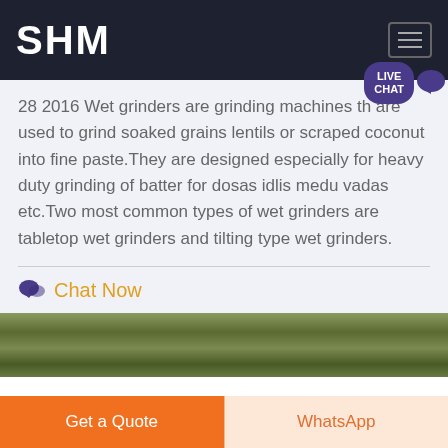SHM
28 2016 Wet grinders are grinding machines that are used to grind soaked grains lentils or scraped coconut into fine paste.They are designed especially for heavy duty grinding of batter for dosas idlis medu vadas etc.Two most common types of wet grinders are tabletop wet grinders and tilting type wet grinders.
Chat Now
[Figure (photo): Outdoor landscape photo showing terrain with soil and vegetation]
Get a Quote
WhatsApp